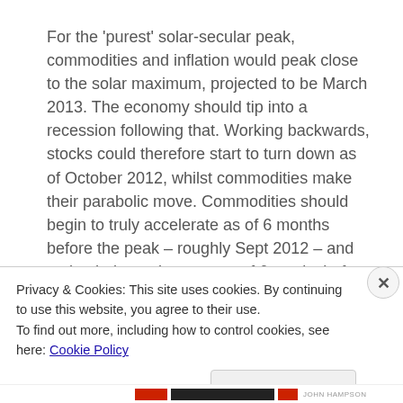For the 'purest' solar-secular peak, commodities and inflation would peak close to the solar maximum, projected to be March 2013. The economy should tip into a recession following that. Working backwards, stocks could therefore start to turn down as of October 2012, whilst commodities make their parabolic move. Commodities should begin to truly accelerate as of 6 months before the peak – roughly Sept 2012 – and make their mania move as of 6 weeks before the peak.
Privacy & Cookies: This site uses cookies. By continuing to use this website, you agree to their use.
To find out more, including how to control cookies, see here: Cookie Policy
Close and accept